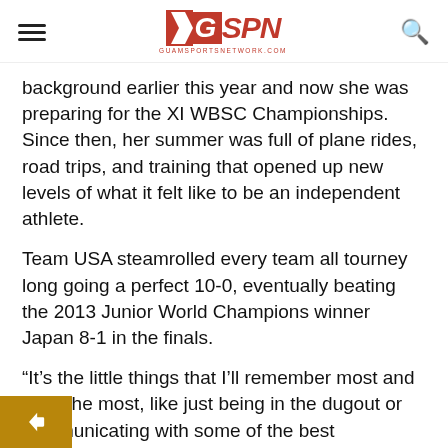GSPN - Guam Sports Network
background earlier this year and now she was preparing for the XI WBSC Championships. Since then, her summer was full of plane rides, road trips, and training that opened up new levels of what it felt like to be an independent athlete.
Team USA steamrolled every team all tourney long going a perfect 10-0, eventually beating the 2013 Junior World Champions winner Japan 8-1 in the finals.
“It’s the little things that I’ll remember most and miss the most, like just being in the dugout or communicating with some of the best young softball players in the world,” said Nickles on her experience.